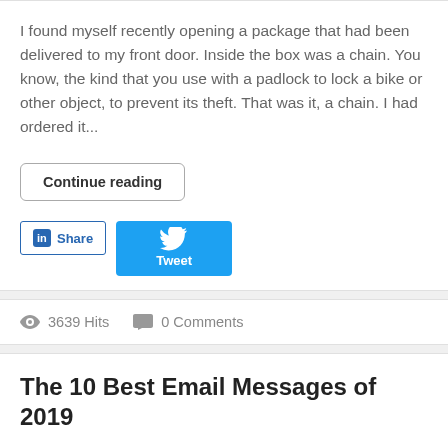I found myself recently opening a package that had been delivered to my front door. Inside the box was a chain. You know, the kind that you use with a padlock to lock a bike or other object, to prevent its theft. That was it, a chain. I had ordered it...
Continue reading
[Figure (other): LinkedIn Share button and Twitter Tweet button]
3639 Hits   0 Comments
The 10 Best Email Messages of 2019
Tuesday, 28 January 2020
Chris Marriott
Email Strategy